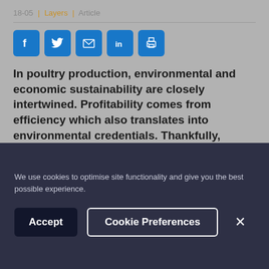18-05 | Layers | Article
[Figure (infographic): Row of 5 social sharing icons: Facebook, Twitter, Email, LinkedIn, Print — blue rounded square buttons]
In poultry production, environmental and economic sustainability are closely intertwined. Profitability comes from efficiency which also translates into environmental credentials. Thankfully, poultry producers can avail themselves of a proven solution that not only meets consumer
We use cookies to optimise site functionality and give you the best possible experience.
Accept | Cookie Preferences | ×